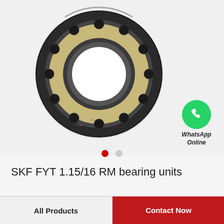[Figure (photo): SKF angular contact ball bearing (FYT 1.15/16 RM) shown from front view, with black outer ring, beige/gold cage, and visible ball elements]
[Figure (logo): WhatsApp green circular icon with phone handset, with text 'WhatsApp Online' below]
SKF FYT 1.15/16 RM bearing units
All Products
Contact Now